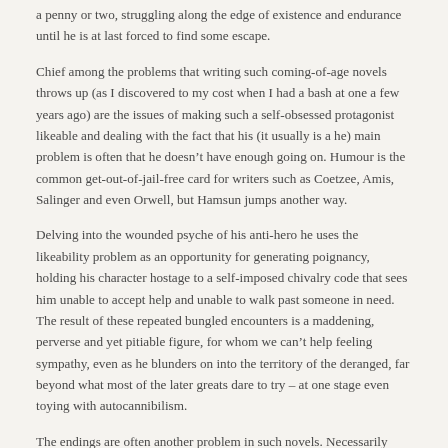a penny or two, struggling along the edge of existence and endurance until he is at last forced to find some escape.
Chief among the problems that writing such coming-of-age novels throws up (as I discovered to my cost when I had a bash at one a few years ago) are the issues of making such a self-obsessed protagonist likeable and dealing with the fact that his (it usually is a he) main problem is often that he doesn't have enough going on. Humour is the common get-out-of-jail-free card for writers such as Coetzee, Amis, Salinger and even Orwell, but Hamsun jumps another way.
Delving into the wounded psyche of his anti-hero he uses the likeability problem as an opportunity for generating poignancy, holding his character hostage to a self-imposed chivalry code that sees him unable to accept help and unable to walk past someone in need. The result of these repeated bungled encounters is a maddening, perverse and yet pitiable figure, for whom we can't help feeling sympathy, even as he blunders on into the territory of the deranged, far beyond what most of the later greats dare to try – at one stage even toying with autocannibilism.
The endings are often another problem in such novels. Necessarily